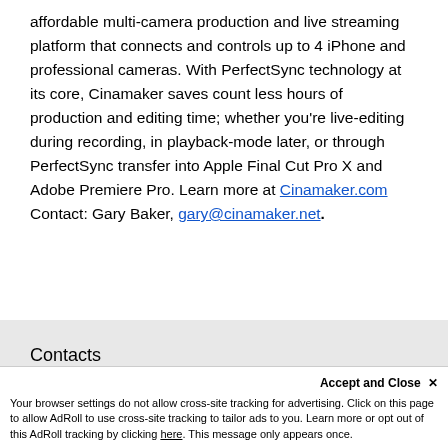affordable multi-camera production and live streaming platform that connects and controls up to 4 iPhone and professional cameras. With PerfectSync technology at its core, Cinamaker saves count less hours of production and editing time; whether you're live-editing during recording, in playback-mode later, or through PerfectSync transfer into Apple Final Cut Pro X and Adobe Premiere Pro. Learn more at Cinamaker.com Contact: Gary Baker, gary@cinamaker.net.
Contacts
Joshua Kantor [Panasonic]
Amanda Clardy [Racepoint Global, for Panasonic]
Accept and Close ×
Your browser settings do not allow cross-site tracking for advertising. Click on this page to allow AdRoll to use cross-site tracking to tailor ads to you. Learn more or opt out of this AdRoll tracking by clicking here. This message only appears once.